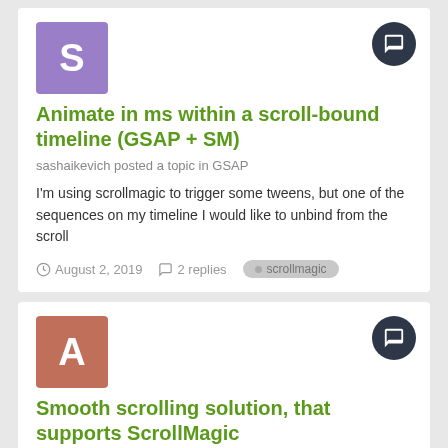Animate in ms within a scroll-bound timeline (GSAP + SM)
sashaikevich posted a topic in GSAP
I'm using scrollmagic to trigger some tweens, but one of the sequences on my timeline I would like to unbind from the scroll
August 2, 2019   2 replies   scrollmagic
Smooth scrolling solution, that supports ScrollMagic
artyor posted a topic in GSAP
Hello, I went through greensock forum to find solution for smooth scrolling, and it was mostly Blake's codepen solution which pretty
July 24, 2019   3 replies